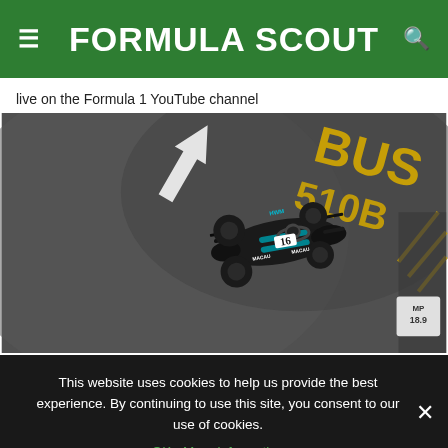FORMULA SCOUT
live on the Formula 1 YouTube channel
[Figure (photo): Aerial/overhead view of a dark Formula 3 racing car number 16 with teal livery and MACAU branding, driving on a street circuit with yellow road markings and a white arrow painted on the tarmac. A yellow 'MP 18.9' marker is visible at right. Text on road reads 'BUS' and '510B' in yellow.]
This website uses cookies to help us provide the best experience. By continuing to use this site, you consent to our use of cookies.
OK   More information